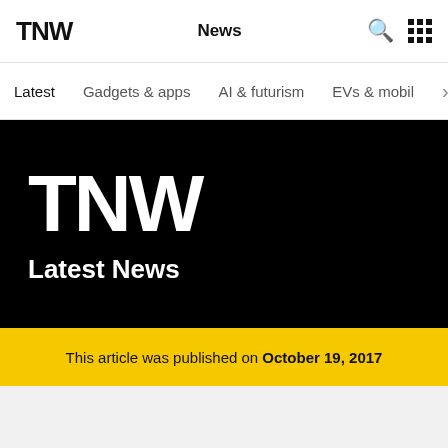TNW — News
Latest | Gadgets & apps | AI & futurism | EVs & mobil
[Figure (logo): TNW large white logo on black background with 'Latest News' text below]
This article was published on October 19, 2017